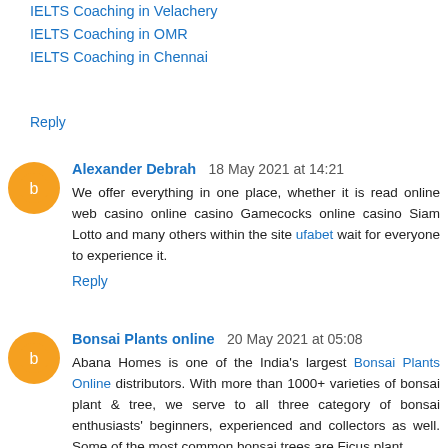IELTS Coaching in Velachery
IELTS Coaching in OMR
IELTS Coaching in Chennai
Reply
Alexander Debrah  18 May 2021 at 14:21
We offer everything in one place, whether it is read online web casino online casino Gamecocks online casino Siam Lotto and many others within the site ufabet wait for everyone to experience it.
Reply
Bonsai Plants online  20 May 2021 at 05:08
Abana Homes is one of the India's largest Bonsai Plants Online distributors. With more than 1000+ varieties of bonsai plant & tree, we serve to all three category of bonsai enthusiasts' beginners, experienced and collectors as well. Some of the most common bonsai trees are Ficus plant